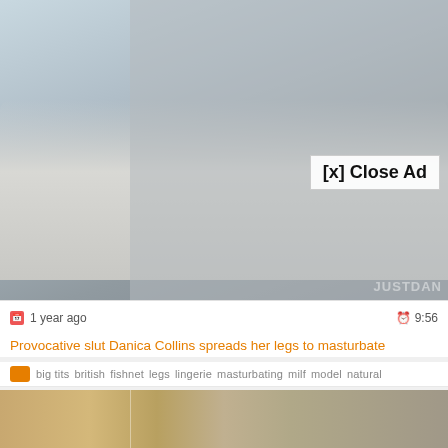[Figure (photo): Woman in black dress and fishnet stockings posed on white couch in room with blinds and curtains; overlay ad covering right portion with semi-transparent gray; [x] Close Ad button visible; watermark JUSTDAN in bottom right]
1 year ago
9:56
Provocative slut Danica Collins spreads her legs to masturbate
big tits  british  fishnet  legs  lingerie  masturbating  milf  model  natural
[Figure (photo): Partial second video thumbnail showing golden/warm toned content split into two panels]